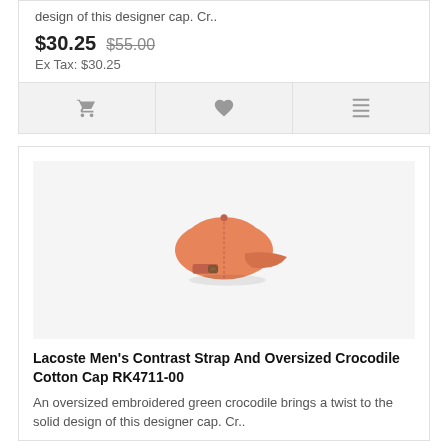design of this designer cap. Cr..
$30.25  $55.00
Ex Tax: $30.25
[Figure (other): Action bar with cart, wishlist, and compare icons]
[Figure (photo): Orange Lacoste cotton cap shown from the back with contrast strap and buckle closure on light grey background]
Lacoste Men's Contrast Strap And Oversized Crocodile Cotton Cap RK4711-00
An oversized embroidered green crocodile brings a twist to the solid design of this designer cap. Cr..